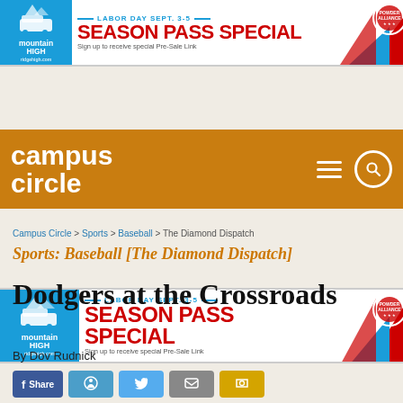[Figure (infographic): Mountain High ski resort advertisement banner. Blue left panel with mountain logo, white center with 'LABOR DAY SEPT. 3-5', 'SEASON PASS SPECIAL' in red bold text, 'Sign up to receive special Pre-Sale Link', red/blue mountain graphic and Powder Alliance badge on right.]
campus circle (navigation bar with hamburger menu and search icon)
[Figure (infographic): Mountain High ski resort advertisement banner (second instance). Same as first: LABOR DAY SEPT. 3-5, SEASON PASS SPECIAL, Sign up to receive special Pre-Sale Link.]
Campus Circle > Sports > Baseball > The Diamond Dispatch
Sports: Baseball [The Diamond Dispatch]
Dodgers at the Crossroads
By Dov Rudnick
[Figure (other): Social media share buttons: Facebook (Share), Messenger, Twitter, Email, and another button partially visible.]